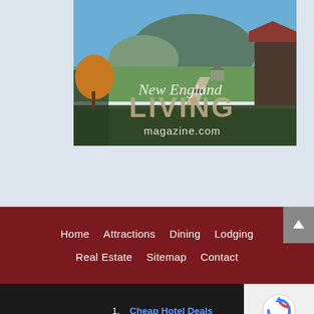[Figure (illustration): New England Living magazine banner showing a rural Vermont landscape with a dirt road, green fields, a mountain in the background, autumn trees, and a barn. Text overlay reads 'New England LIVING magazine.com']
Home    Attractions    Dining    Lodging
Real Estate    Sitemap    Contact
Search for
1. Cheap Hotel Deals
2. Travel Deals for Seniors